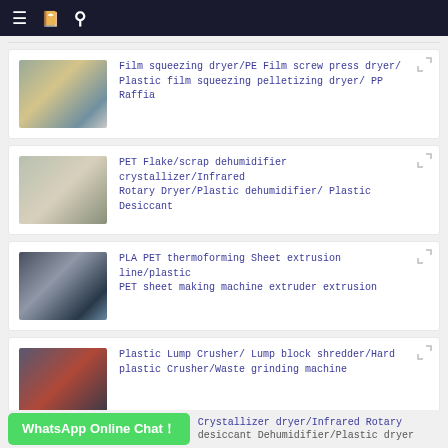Navigation bar with menu, bookmark, and search icons
[Figure (photo): Industrial film squeezing dryer machine exterior]
Film squeezing dryer/PE Film screw press dryer/ Plastic film squeezing pelletizing dryer/ PP Raffia
[Figure (photo): PET flake dehumidifier crystallizer machine outdoors]
PET Flake/scrap dehumidifier crystallizer/Infrared Rotary Dryer/Plastic dehumidifier/ Plastic Desiccant
[Figure (photo): PLA PET thermoforming sheet extrusion line machinery]
PLA PET thermoforming Sheet extrusion line/plastic PET sheet making machine extruder extrusion
[Figure (photo): Plastic lump crusher with red and black components]
Plastic Lump Crusher/ Lump block shredder/Hard plastic Crusher/Waste grinding machine
[Figure (photo): Crystallizer dryer machine partially visible]
Crystallizer dryer/Infrared Rotary
desiccant Dehumidifier/Plastic dryer